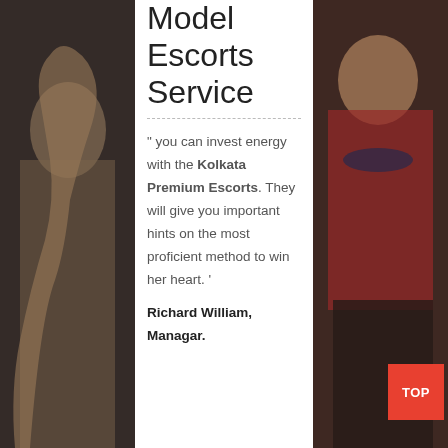[Figure (photo): Photo of a woman posing on the left side, dark background]
Model Escorts Service
" you can invest energy with the Kolkata Premium Escorts. They will give you important hints on the most proficient method to win her heart. '
Richard William, Managar.
[Figure (photo): Photo of a woman in red top with necklace on the right side]